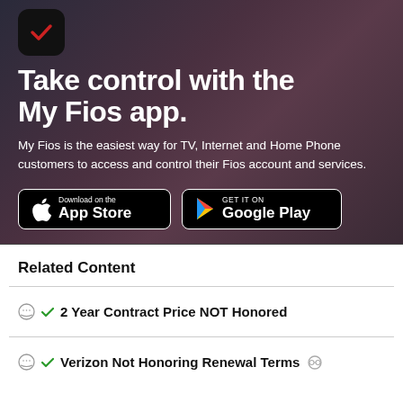[Figure (screenshot): My Fios app icon: black rounded square with a red checkmark]
Take control with the My Fios app.
My Fios is the easiest way for TV, Internet and Home Phone customers to access and control their Fios account and services.
[Figure (other): App Store and Google Play download buttons]
Related Content
2 Year Contract Price NOT Honored
Verizon Not Honoring Renewal Terms